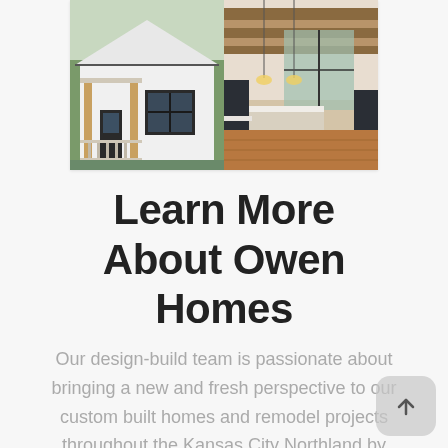[Figure (photo): Two side-by-side photos: left shows a white modern farmhouse exterior with wood porch columns and black windows; right shows a modern open-concept kitchen/living interior with wood beam ceiling, dark cabinetry, and hardwood floors.]
Learn More About Owen Homes
Our design-build team is passionate about bringing a new and fresh perspective to our custom built homes and remodel projects throughout the Kansas City Northland by incorporating new technology, materials, design, and